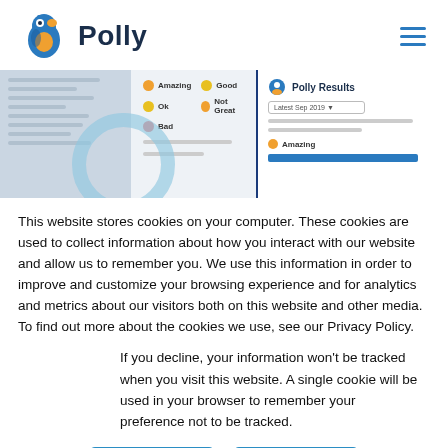[Figure (screenshot): Polly app logo with parrot icon and hamburger menu icon in header]
[Figure (screenshot): Screenshot of Polly survey interface showing emoji options (Amazing, Good, Ok, Not Great, Bad) and Polly Results panel]
This website stores cookies on your computer. These cookies are used to collect information about how you interact with our website and allow us to remember you. We use this information in order to improve and customize your browsing experience and for analytics and metrics about our visitors both on this website and other media. To find out more about the cookies we use, see our Privacy Policy.
If you decline, your information won't be tracked when you visit this website. A single cookie will be used in your browser to remember your preference not to be tracked.
Accept
Decline